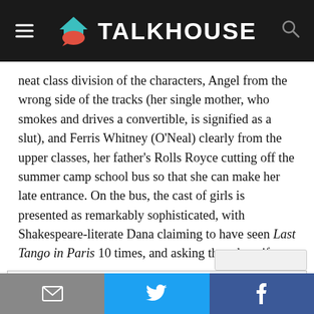TALKHOUSE
neat class division of the characters, Angel from the wrong side of the tracks (her single mother, who smokes and drives a convertible, is signified as a slut), and Ferris Whitney (O'Neal) clearly from the upper classes, her father's Rolls Royce cutting off the summer camp school bus so that she can make her late entrance. On the bus, the cast of girls is presented as remarkably sophisticated, with Shakespeare-literate Dana claiming to have seen Last Tango in Paris 10 times, and asking the others if
Privacy & Cookies: This site uses cookies. By continuing to use this website, you agree to their use.
To find out more, including how to control cookies, see here: Cookie Policy